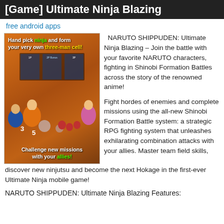[Game] Ultimate Ninja Blazing
free android apps
[Figure (screenshot): Screenshot of the Naruto Shippuden Ultimate Ninja Blazing mobile game showing character selection and battle screens with text 'Hand pick ninja and form your very own three-man cell!' and 'Challenge new missions with your allies!']
NARUTO SHIPPUDEN: Ultimate Ninja Blazing – Join the battle with your favorite NARUTO characters, fighting in Shinobi Formation Battles across the story of the renowned anime!

Fight hordes of enemies and complete missions using the all-new Shinobi Formation Battle system: a strategic RPG fighting system that unleashes exhilarating combination attacks with your allies. Master team field skills, discover new ninjutsu and become the next Hokage in the first-ever Ultimate Ninja mobile game!
NARUTO SHIPPUDEN: Ultimate Ninja Blazing Features: